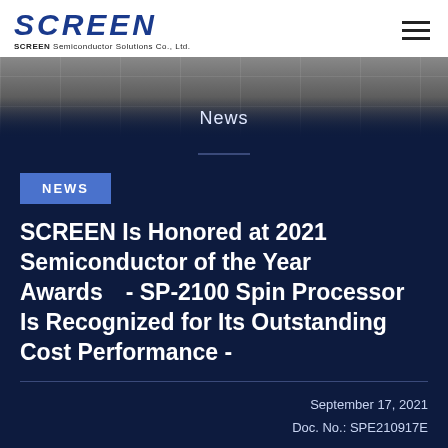[Figure (logo): SCREEN Semiconductor Solutions Co., Ltd. logo with blue bold italic SCREEN text and company subtitle]
[Figure (photo): Ceiling of a large industrial or office building with grid ceiling tiles, viewed from below, fading to dark navy at the bottom with News text overlay]
News
NEWS
SCREEN Is Honored at 2021 Semiconductor of the Year Awards　- SP-2100 Spin Processor Is Recognized for Its Outstanding Cost Performance -
September 17, 2021
Doc. No.: SPE210917E